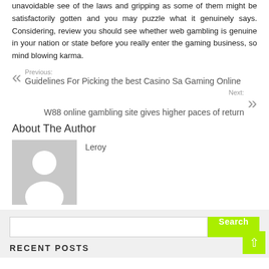unavoidable see of the laws and gripping as some of them might be satisfactorily gotten and you may puzzle what it genuinely says. Considering, review you should see whether web gambling is genuine in your nation or state before you really enter the gaming business, so mind blowing karma.
Previous: Guidelines For Picking the best Casino Sa Gaming Online
Next: W88 online gambling site gives higher paces of return
About The Author
[Figure (photo): Default user avatar placeholder - grey background with white silhouette of a person]
Leroy
Search
RECENT POSTS